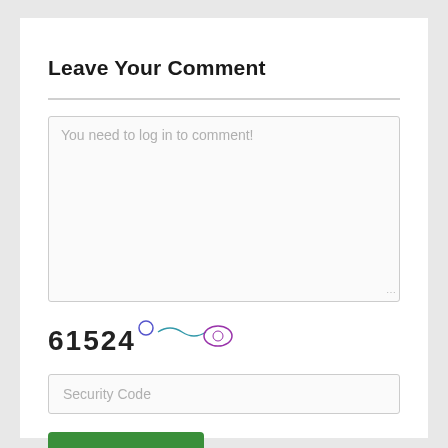Leave Your Comment
You need to log in to comment!
[Figure (other): CAPTCHA image showing the code 61524 with decorative swirl lines in blue and purple]
Security Code
Login